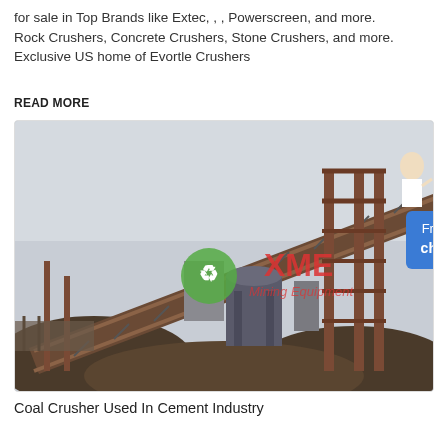for sale in Top Brands like Extec, , , Powerscreen, and more. Rock Crushers, Concrete Crushers, Stone Crushers, and more. Exclusive US home of Evortle Crushers
READ MORE
[Figure (photo): Industrial mining/crushing plant with conveyor belts, large metal structures, machinery, and piles of crushed stone/coal. XME Mining Equipment watermark visible in center.]
Coal Crusher Used In Cement Industry